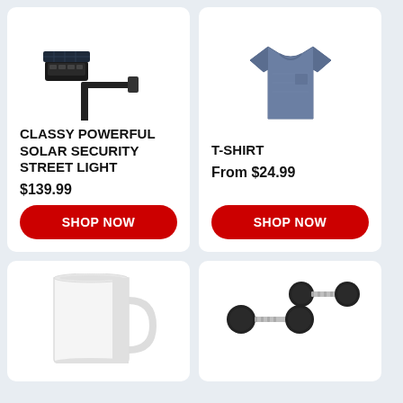[Figure (photo): Solar security street light product photo - black light fixture with mount arm on white background]
CLASSY POWERFUL SOLAR SECURITY STREET LIGHT
$139.99
SHOP NOW
[Figure (photo): Blue/grey t-shirt product photo on white background]
T-SHIRT
From $24.99
SHOP NOW
[Figure (photo): White ceramic mug product photo, partially visible]
[Figure (photo): Dumbbells / barbells product photo, partially visible]